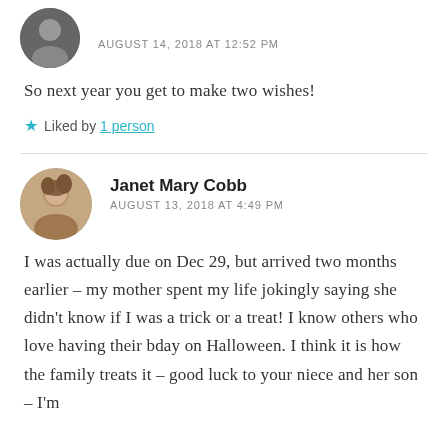AUGUST 14, 2018 AT 12:52 PM
So next year you get to make two wishes!
Liked by 1 person
Janet Mary Cobb
AUGUST 13, 2018 AT 4:49 PM
I was actually due on Dec 29, but arrived two months earlier – my mother spent my life jokingly saying she didn't know if I was a trick or a treat! I know others who love having their bday on Halloween. I think it is how the family treats it – good luck to your niece and her son – I'm